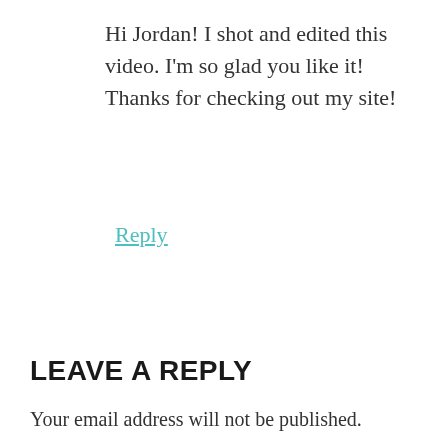Hi Jordan! I shot and edited this video. I'm so glad you like it! Thanks for checking out my site!
Reply
LEAVE A REPLY
Your email address will not be published.